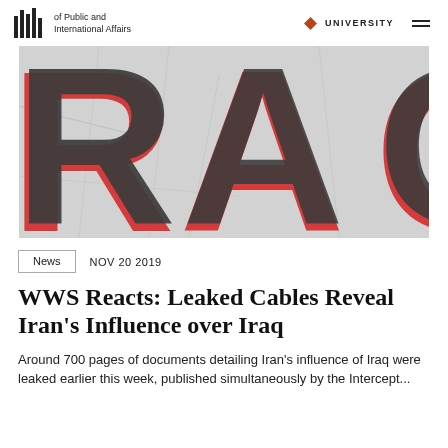of Public and International Affairs | PRINCETON UNIVERSITY
[Figure (photo): Close-up artistic image with large bold letters 'RA' and part of 'Q' in black and red on a light grey cracked background, representing Iraq.]
News   NOV 20 2019
WWS Reacts: Leaked Cables Reveal Iran's Influence over Iraq
Around 700 pages of documents detailing Iran's influence of Iraq were leaked earlier this week, published simultaneously by the Intercept...